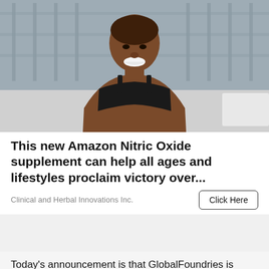[Figure (photo): A smiling athletic Black woman wearing a black sports bra, leaning forward, photographed outdoors against a blurred background.]
This new Amazon Nitric Oxide supplement can help all ages and lifestyles proclaim victory over...
Clinical and Herbal Innovations Inc.
Click Here
Today's announcement is that GlobalFoundries is expanding its manufacturing portfolio in a very different way than it has